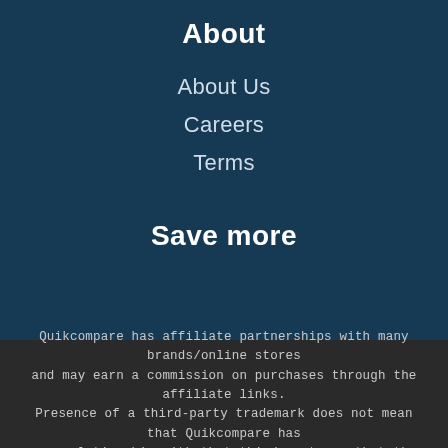About
About Us
Careers
Terms
Save more
Quikcompare has affiliate partnerships with many brands/online stores and may earn a commission on purchases through the affiliate links. Presence of a third-party trademark does not mean that Quikcompare has any relationship with that third-party or that the third-party endorses Quikcompare or its services.
$85.35
CHOOSE OFFER